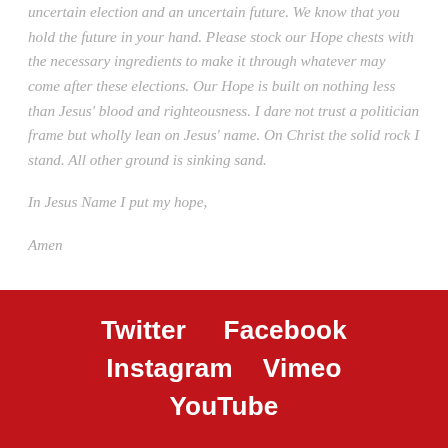uncertain election and an uncertain future. We know that you hold the future in your hand. Please stock our Hope chests with the necessary ingredients to make it through whatever may come after these elections. Our Hope is built on nothing less than Jesus' blood and righteousness. I dare not trust a politician frame but wholly lean on Jesus' name. On Christ the solid rock I stand. All other ground is sinking sand.
In Jesus Name I put my hope,
Amen
Twitter    Facebook    Instagram    Vimeo    YouTube